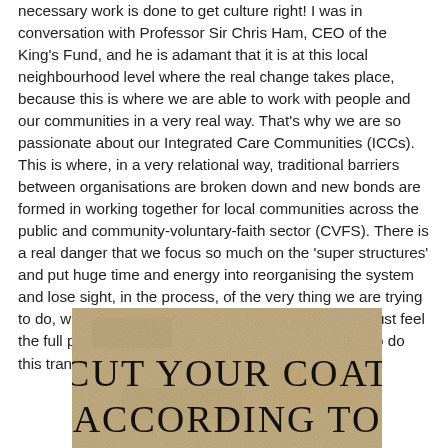necessary work is done to get culture right! I was in conversation with Professor Sir Chris Ham, CEO of the King's Fund, and he is adamant that it is at this local neighbourhood level where the real change takes place, because this is where we are able to work with people and our communities in a very real way. That's why we are so passionate about our Integrated Care Communities (ICCs). This is where, in a very relational way, traditional barriers between organisations are broken down and new bonds are formed in working together for local communities across the public and community-voluntary-faith sector (CVFS). There is a real danger that we focus so much on the 'super structures' and put huge time and energy into reorganising the system and lose sight, in the process, of the very thing we are trying to do, which is to make care better! Our ICC teams must feel the full permission and receive the resource needed to do this transformational work.
[Figure (illustration): A textured paper background image with the text 'CUT YOUR COAT ACCORDING TO' written in a handwritten/chalk style font. Watermark 'ESSENSE.COM' visible in top right corner.]